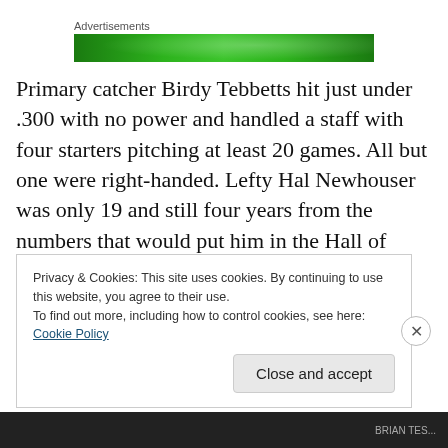Advertisements
[Figure (other): Green advertisement banner with sparkle/light effects]
Primary catcher Birdy Tebbetts hit just under .300 with no power and handled a staff with four starters pitching at least 20 games. All but one were right-handed. Lefty Hal Newhouser was only 19 and still four years from the numbers that would put him in the Hall of Fame. The righty starters were 21 game winner and ace Louis “Bobo”
Privacy & Cookies: This site uses cookies. By continuing to use this website, you agree to their use.
To find out more, including how to control cookies, see here: Cookie Policy